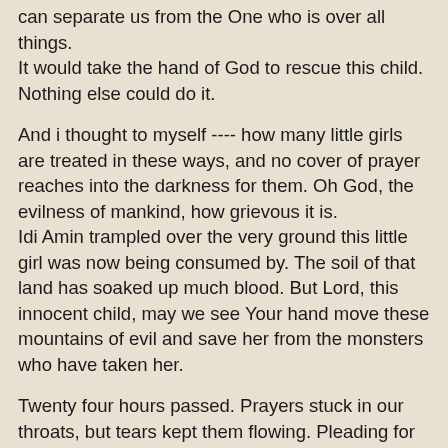can separate us from the One who is over all things. It would take the hand of God to rescue this child. Nothing else could do it.
And i thought to myself ---- how many little girls are treated in these ways, and no cover of prayer reaches into the darkness for them. Oh God, the evilness of mankind, how grievous it is.
Idi Amin trampled over the very ground this little girl was now being consumed by. The soil of that land has soaked up much blood. But Lord, this innocent child, may we see Your hand move these mountains of evil and save her from the monsters who have taken her.
Twenty four hours passed. Prayers stuck in our throats, but tears kept them flowing. Pleading for the life of a child, it can freeze blood in veins.
But that evening, Eve called with the news.
Little Faith had been saved.
The police had surrounded the huts of the deceased father's